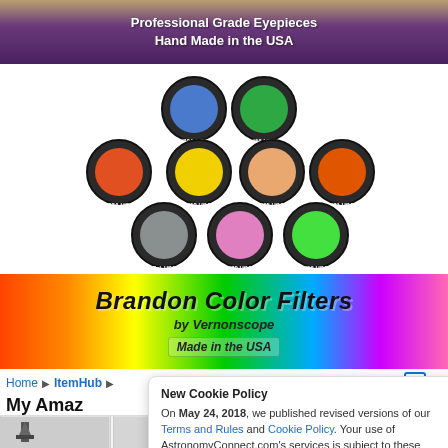[Figure (photo): Top purple/brown banner with text: Professional Grade Eyepieces Hand Made in the USA]
[Figure (photo): Seven Brandon telescope color filters (orange #23A, yellow #12, blue #80A, green #56, orange #65, orange-red #21, gray polarizer, pink #30, green #56) arranged in a circular cluster on white background]
[Figure (photo): Brandon Color Filters by Vernonscope banner with rainbow gradient background, bold italic text reading Brandon Color Filters, subtitle by Vernonscope, and Made in the USA badge]
Home ▶ ItemHub ▶
My Amaz
New Cookie Policy
On May 24, 2018, we published revised versions of our Terms and Rules and Cookie Policy. Your use of AstronomyConnect.com's services is subject to these revised terms.